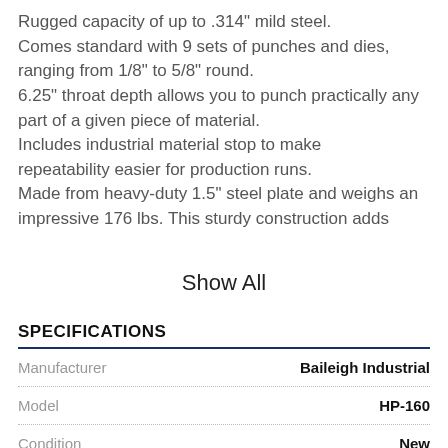Rugged capacity of up to .314" mild steel. Comes standard with 9 sets of punches and dies, ranging from 1/8" to 5/8" round. 6.25" throat depth allows you to punch practically any part of a given piece of material. Includes industrial material stop to make repeatability easier for production runs. Made from heavy-duty 1.5" steel plate and weighs an impressive 176 lbs. This sturdy construction adds
Show All
SPECIFICATIONS
|  |  |
| --- | --- |
| Manufacturer | Baileigh Industrial |
| Model | HP-160 |
| Condition | New |